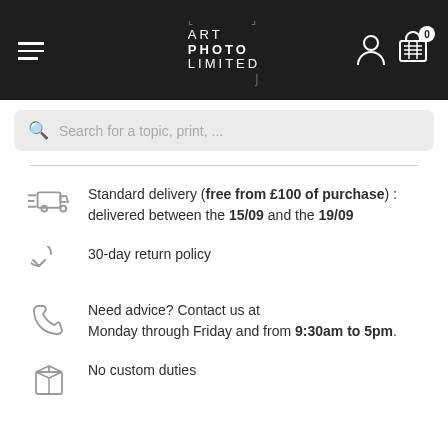ART PHOTO LIMITED — navigation header with hamburger menu, logo, user icon, cart icon (0)
Search for a topic, print, ...
Standard delivery (free from £100 of purchase) : delivered between the 15/09 and the 19/09
30-day return policy
Need advice? Contact us at Monday through Friday and from 9:30am to 5pm.
No custom duties